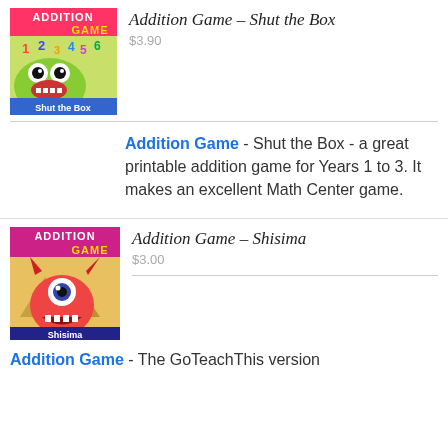[Figure (illustration): Addition Game - Shut the Box book/game cover with green monster and numbers]
Addition Game – Shut the Box
$3.90
Addition Game - Shut the Box - a great printable addition game for Years 1 to 3. It makes an excellent Math Center game.
[Figure (illustration): Addition Game - Shisima book/game cover with red one-eyed monster]
Addition Game – Shisima
$3.00
Addition Game - The GoTeachThis version